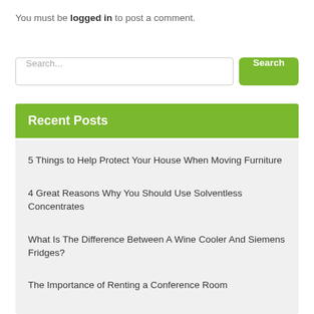You must be logged in to post a comment.
Search...
Recent Posts
5 Things to Help Protect Your House When Moving Furniture
4 Great Reasons Why You Should Use Solventless Concentrates
What Is The Difference Between A Wine Cooler And Siemens Fridges?
The Importance of Renting a Conference Room
Everything You Need To Know About Awning